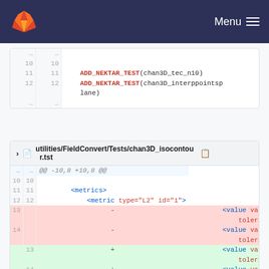GitLab navigation bar with logo and Menu
[Figure (screenshot): Code diff snippet showing ADD_NEKTAR_TEST calls for chan3D_tec_n10 and chan3D_interppointsp lane at lines 11-12]
utilities/FieldConvert/Tests/chan3D_isocontour.tst
[Figure (screenshot): Code diff of chan3D_isocontour.tst showing changed <value> elements for variable x and y with tolerance 1e-4, old values 0.624386 and 0.623558, new values 0.597226 and (y line cut off)]